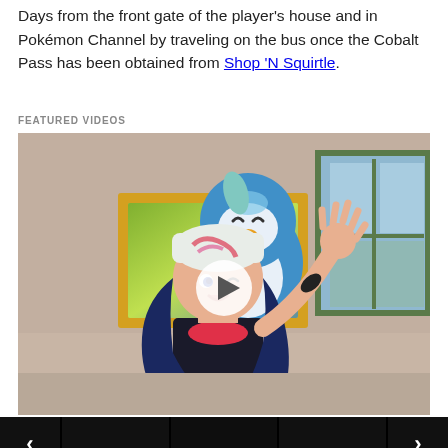Days from the front gate of the player's house and in Pokémon Channel by traveling on the bus once the Cobalt Pass has been obtained from Shop 'N Squirtle.
FEATURED VIDEOS
[Figure (photo): Anime screenshot showing a girl with blue hair wearing a white hat with a pink swirl design, waving with one hand raised. A blue and white Pokemon (Piplup) is visible behind her head, and a window with green frame is in the background. A play button overlay is shown in the center.]
[Figure (screenshot): A row of four dark thumbnail images with left arrow on the leftmost and right arrow on the rightmost, forming a video carousel navigation strip.]